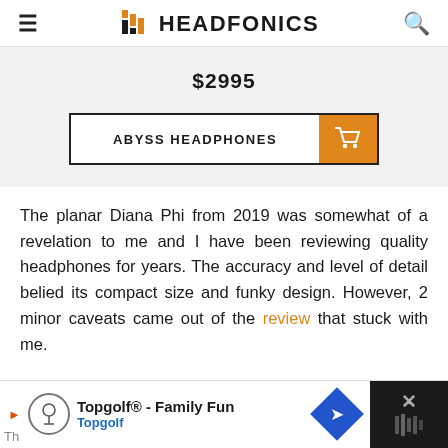≡  HF HEADFONICS  🔍
$2995
[Figure (other): ABYSS HEADPHONES buy button with shopping cart icon]
The planar Diana Phi from 2019 was somewhat of a revelation to me and I have been reviewing quality headphones for years. The accuracy and level of detail belied its compact size and funky design. However, 2 minor caveats came out of the review that stuck with me.
[Figure (other): Topgolf advertisement banner: Topgolf® - Family Fun / Topgolf with navigation icon and close button]